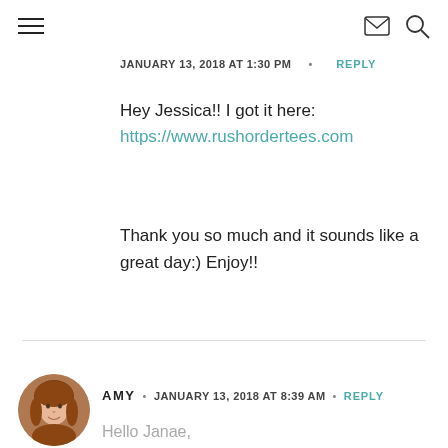JANUARY 13, 2018 AT 1:30 PM  •  REPLY
Hey Jessica!! I got it here:
https://www.rushordertees.com
Thank you so much and it sounds like a great day:) Enjoy!!
AMY  •  JANUARY 13, 2018 AT 8:39 AM  •  REPLY
Hello Janae,
I actually have never been to Cafe Rio (mainly b/c it's